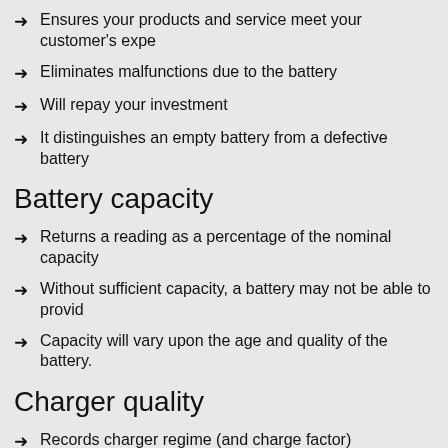Ensures your products and service meet your customer's expe
Eliminates malfunctions due to the battery
Will repay your investment
It distinguishes an empty battery from a defective battery
Battery capacity
Returns a reading as a percentage of the nominal capacity
Without sufficient capacity, a battery may not be able to provid
Capacity will vary upon the age and quality of the battery.
Charger quality
Records charger regime (and charge factor)
Detects overcharge
Causing overheating and gel dry-out, …